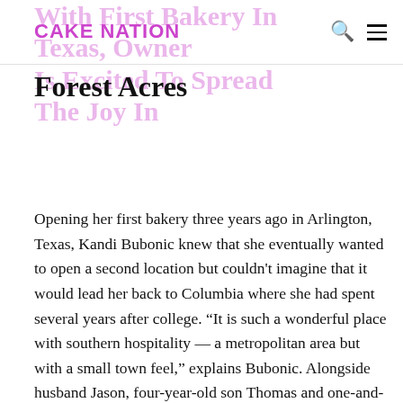CAKE NATION
With First Bakery In Texas, Owner Is Excited To Spread The Joy In Forest Acres
Opening her first bakery three years ago in Arlington, Texas, Kandi Bubonic knew that she eventually wanted to open a second location but couldn't imagine that it would lead her back to Columbia where she had spent several years after college. “It is such a wonderful place with southern hospitality — a metropolitan area but with a small town feel,” explains Bubonic. Alongside husband Jason, four-year-old son Thomas and one-and-a-half-year-old Lucy, Bubonic says that this growing city is the perfect place to raise a family. “And, I’m thrilled that my sister lives here and my brother-in-law is moving from law enforcement to the role of bakery manager. We have an opportunity to change people’s lives and raise them up out of their situations. So not that different, except